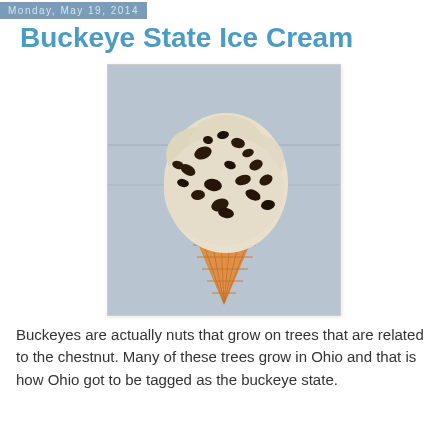Monday, May 19, 2014
Buckeye State Ice Cream
[Figure (photo): A scoop of chocolate chip ice cream on a waffle cone against a light blue/gray background]
Buckeyes are actually nuts that grow on trees that are related to the chestnut.  Many of these trees grow in Ohio and that is how Ohio got to be tagged as the buckeye state.